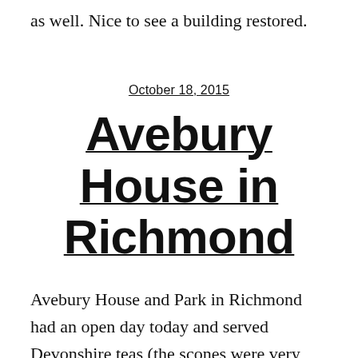as well. Nice to see a building restored.
October 18, 2015
Avebury House in Richmond
Avebury House and Park in Richmond had an open day today and served Devonshire teas (the scones were very good). I'd never been to the house before nor was I even